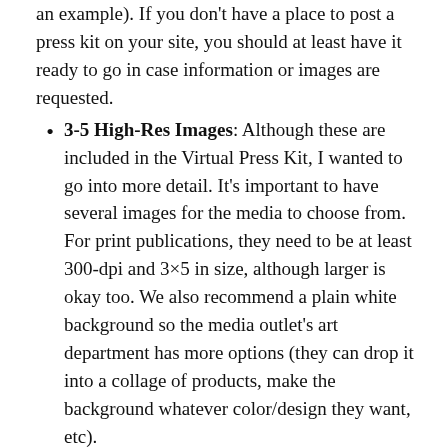an example). If you don't have a place to post a press kit on your site, you should at least have it ready to go in case information or images are requested.
3-5 High-Res Images: Although these are included in the Virtual Press Kit, I wanted to go into more detail. It's important to have several images for the media to choose from. For print publications, they need to be at least 300-dpi and 3×5 in size, although larger is okay too. We also recommend a plain white background so the media outlet's art department has more options (they can drop it into a collage of products, make the background whatever color/design they want, etc).